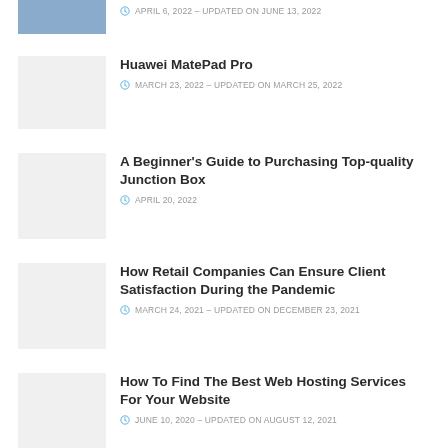[Figure (photo): Partial thumbnail image at top, partially cropped]
APRIL 6, 2022 – UPDATED ON JUNE 13, 2022
Huawei MatePad Pro
MARCH 23, 2022 – UPDATED ON MARCH 25, 2022
A Beginner's Guide to Purchasing Top-quality Junction Box
APRIL 20, 2022
How Retail Companies Can Ensure Client Satisfaction During the Pandemic
MARCH 24, 2021 – UPDATED ON DECEMBER 23, 2021
How To Find The Best Web Hosting Services For Your Website
JUNE 10, 2020 – UPDATED ON AUGUST 12, 2021